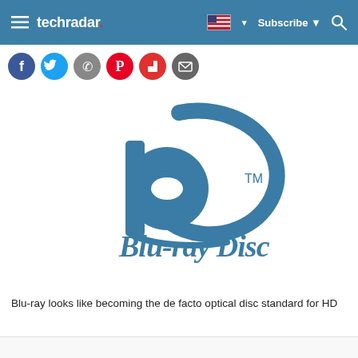techradar
[Figure (logo): Blu-ray Disc logo — blue stylized 'b' disc icon with swoosh arc above and 'Blu-ray Disc' italic text with TM mark]
Blu-ray looks like becoming the de facto optical disc standard for HD